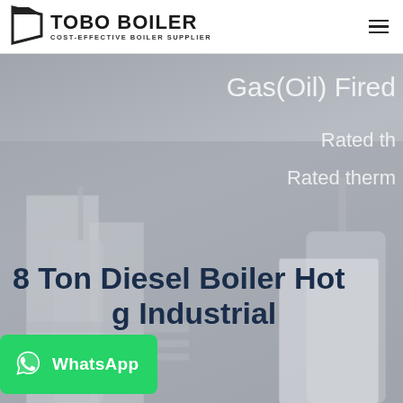TOBO BOILER — COST-EFFECTIVE BOILER SUPPLIER
[Figure (screenshot): Hero banner showing a gas/oil fired industrial boiler in a grey-blue tinted photograph. Overlay text reads: Gas(Oil) Fired, Rated th..., Rated therm...]
8 Ton Diesel Boiler Hot ... g Industrial
[Figure (logo): WhatsApp button with phone icon and text 'WhatsApp']